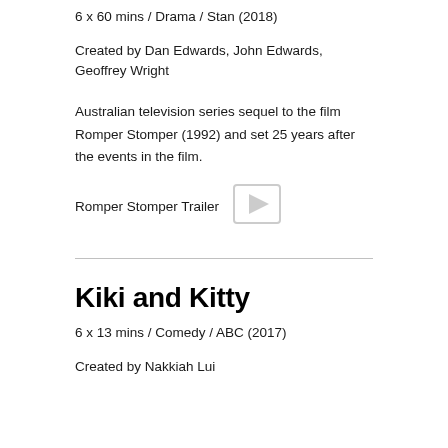6 x 60 mins / Drama / Stan (2018)
Created by Dan Edwards, John Edwards, Geoffrey Wright
Australian television series sequel to the film Romper Stomper (1992) and set 25 years after the events in the film.
Romper Stomper Trailer
Kiki and Kitty
6 x 13 mins / Comedy / ABC (2017)
Created by Nakkiah Lui